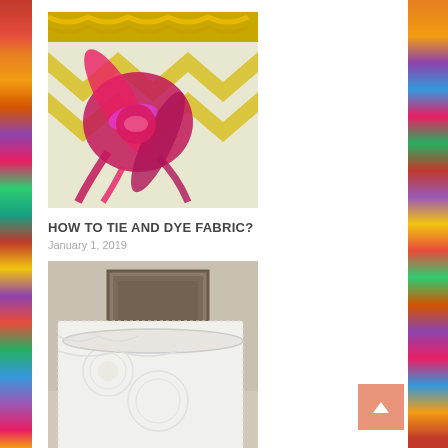[Figure (photo): Photo of pink/magenta twisted fabric ties on a yellow and white surface, with yellow yarn visible at top. Tie-dye preparation.]
HOW TO TIE AND DYE FABRIC?
January 1, 2019
[Figure (photo): Photo of white lacy fabric draped over what appears to be a container or bucket, with a framed artwork visible in the background.]
HOW TO TEA DYE FABRIC?